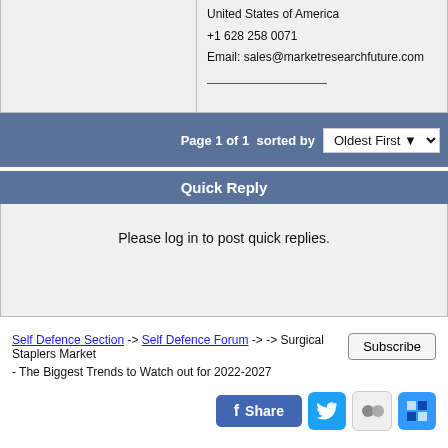United States of America
+1 628 258 0071
Email: sales@marketresearchfuture.com
Page 1 of 1  sorted by  Oldest First
Quick Reply
Please log in to post quick replies.
Self Defence Section -> Self Defence Forum -> -> Surgical Staplers Market - The Biggest Trends to Watch out for 2022-2027
Create your own FREE Forum
Report Abuse